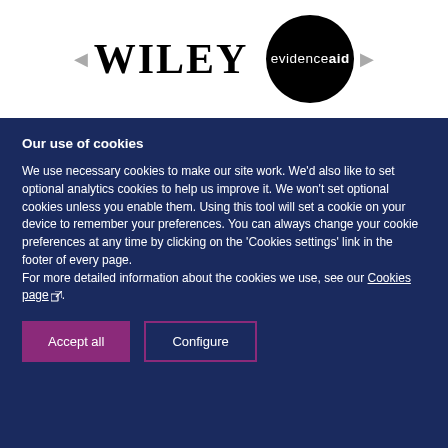[Figure (logo): Wiley and Evidence Aid logos side by side with navigation arrows]
Our use of cookies
We use necessary cookies to make our site work. We'd also like to set optional analytics cookies to help us improve it. We won't set optional cookies unless you enable them. Using this tool will set a cookie on your device to remember your preferences. You can always change your cookie preferences at any time by clicking on the 'Cookies settings' link in the footer of every page.
For more detailed information about the cookies we use, see our Cookies page.
Accept all | Configure